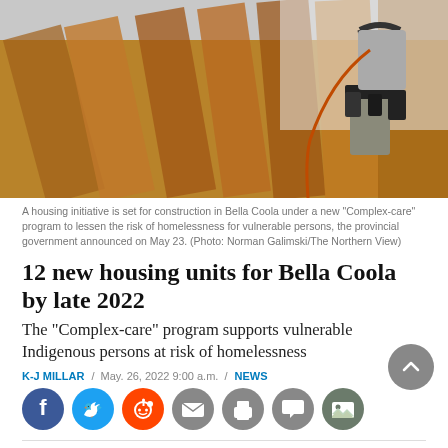[Figure (photo): A worker in safety harness and tool belt on wooden construction beams, viewed from below against a bright sky background.]
A housing initiative is set for construction in Bella Coola under a new “Complex-care” program to lessen the risk of homelessness for vulnerable persons, the provincial government announced on May 23. (Photo: Norman Galimski/The Northern View)
12 new housing units for Bella Coola by late 2022
The “Complex-care” program supports vulnerable Indigenous persons at risk of homelessness
K-J MILLAR  /  May. 26, 2022 9:00 a.m.  /  NEWS
[Figure (other): Social media sharing icons row: Facebook, Twitter, Reddit, Email, Print, Comment, Gallery]
New housing for Indigenous community members with